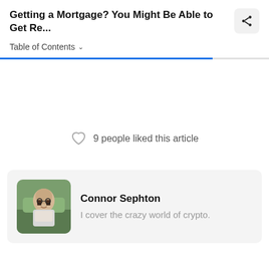Getting a Mortgage? You Might Be Able to Get Re...
Table of Contents
9 people liked this article
Connor Sephton
I cover the crazy world of crypto.